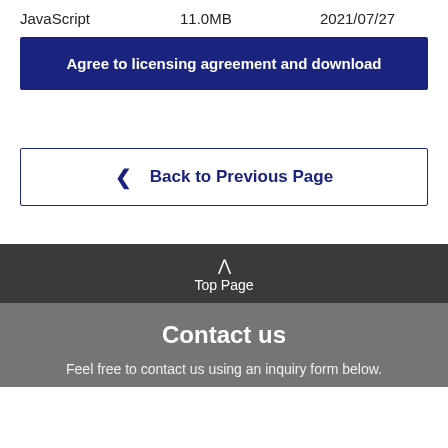JavaScript    11.0MB    2021/07/27
Agree to licensing agreement and download
< Back to Previous Page
Top Page
Contact us
Feel free to contact us using an inquiry form below.